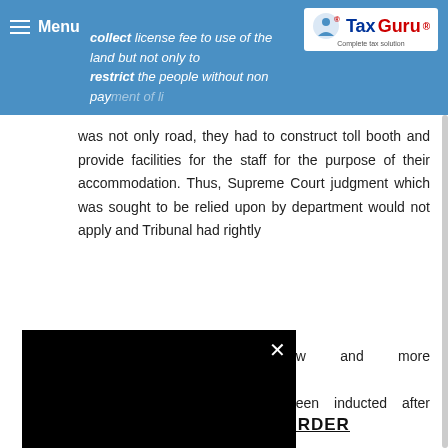Menu | TaxGuru - Complete tax solution
collect license fee to use of the land but not only to restrict the people without non payment of license fee.
was not only road, they had to construct toll booth and provide facilities for the staff for the purpose of their accommodation. Thus, Supreme Court judgment which was sought to be relied upon by department would not apply and Tribunal had rightly ... law and more particularly ... been inducted after year
HIGH COURT ORDER
ADVERTISEMENT
[Figure (screenshot): Video player overlay with black background, loading spinner, and close (X) button]
[Figure (screenshot): BitLife - Life Simulator advertisement banner with install button]